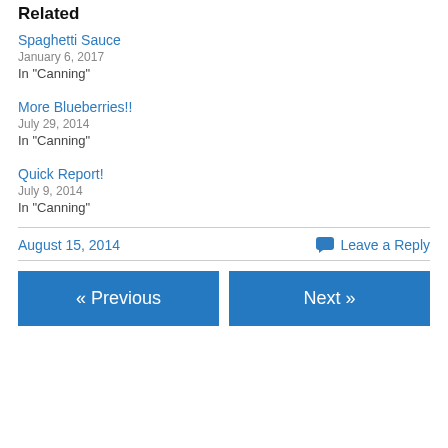Related
Spaghetti Sauce
January 6, 2017
In "Canning"
More Blueberries!!
July 29, 2014
In "Canning"
Quick Report!
July 9, 2014
In "Canning"
August 15, 2014    Leave a Reply
« Previous    Next »